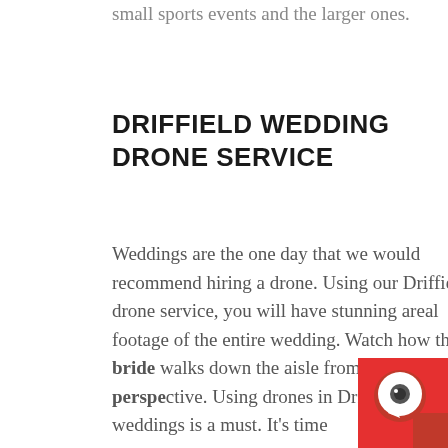small sports events and the larger ones.
DRIFFIELD WEDDING DRONE SERVICE
Weddings are the one day that we would recommend hiring a drone. Using our Driffield drone service, you will have stunning areal footage of the entire wedding. Watch how the bride walks down the aisle from a unique perspective. Using drones in Driffield for weddings is a must. It's time